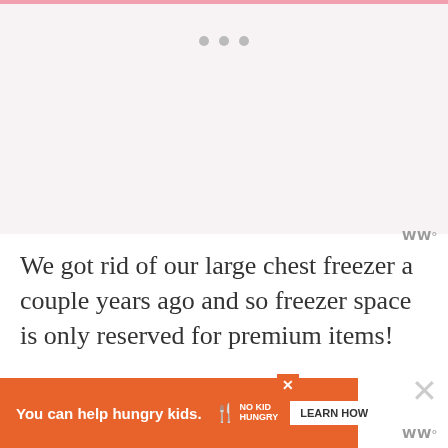[Figure (photo): Image placeholder area with light pink/gray background and three gray dots indicating an image carousel]
We got rid of our large chest freezer a couple years ago and so freezer space is only reserved for premium items!
A... re...
[Figure (infographic): Orange advertisement banner: 'You can help hungry kids.' with No Kid Hungry logo and LEARN HOW button]